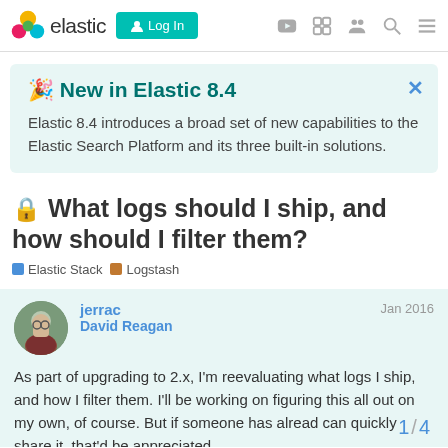elastic | Log In
🎉 New in Elastic 8.4
Elastic 8.4 introduces a broad set of new capabilities to the Elastic Search Platform and its three built-in solutions.
🔒 What logs should I ship, and how should I filter them?
Elastic Stack | Logstash
jerrac   David Reagan   Jan 2016
As part of upgrading to 2.x, I'm reevaluating what logs I ship, and how I filter them. I'll be working on figuring this all out on my own, of course. But if someone has alread can quickly share it, that'd be appreciated.
1 / 4